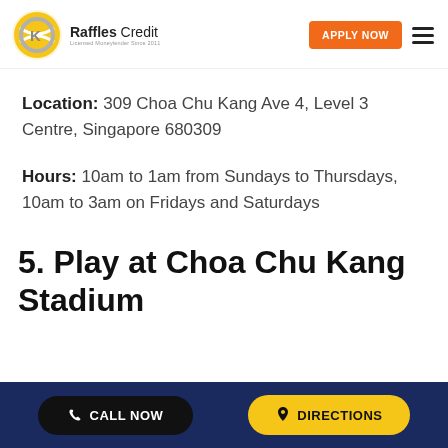[Figure (logo): Raffles Credit logo — circular yellow and grey tennis-ball-style emblem with 'Raffles Credit' text and 'Licensed Moneylender Since 2011' subtitle]
Location: 309 Choa Chu Kang Ave 4, Level 3 Centre, Singapore 680309
Hours: 10am to 1am from Sundays to Thursdays, 10am to 3am on Fridays and Saturdays
5. Play at Choa Chu Kang Stadium
CALL NOW   DIRECTIONS